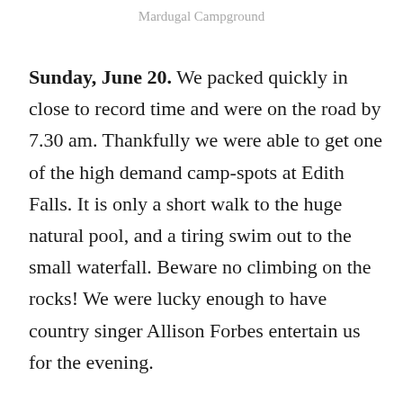Mardugal Campground
Sunday, June 20. We packed quickly in close to record time and were on the road by 7.30 am. Thankfully we were able to get one of the high demand camp-spots at Edith Falls. It is only a short walk to the huge natural pool, and a tiring swim out to the small waterfall. Beware no climbing on the rocks! We were lucky enough to have country singer Allison Forbes entertain us for the evening.